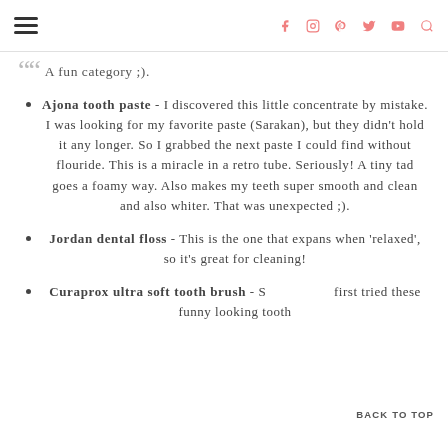Navigation header with hamburger menu and social icons (f, instagram, pinterest, twitter, youtube, search)
A fun category ;).
Ajona tooth paste - I discovered this little concentrate by mistake. I was looking for my favorite paste (Sarakan), but they didn't hold it any longer. So I grabbed the next paste I could find without flouride. This is a miracle in a retro tube. Seriously! A tiny tad goes a foamy way. Also makes my teeth super smooth and clean and also whiter. That was unexpected ;).
Jordan dental floss - This is the one that expans when 'relaxed', so it's great for cleaning!
Curaprox ultra soft tooth brush - S... first tried these funny looking tooth
BACK TO TOP